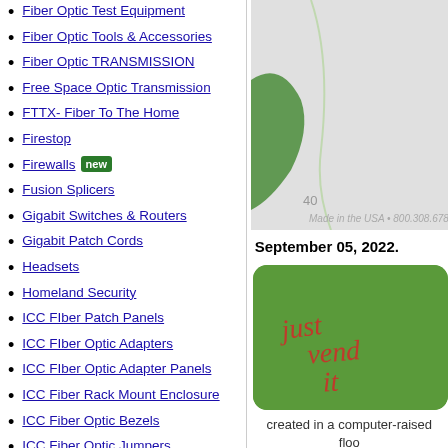Fiber Optic Test Equipment
Fiber Optic Tools & Accessories
Fiber Optic TRANSMISSION
Free Space Optic Transmission
FTTX- Fiber To The Home
Firestop
Firewalls [new]
Fusion Splicers
Gigabit Switches & Routers
Gigabit Patch Cords
Headsets
Homeland Security
ICC FIber Patch Panels
ICC FIber Optic Adapters
ICC FIber Optic Adapter Panels
ICC Fiber Rack Mount Enclosure
ICC Fiber Optic Bezels
ICC Fiber Optic Jumpers
ICC Fiber Optic Media Outlets
Indoor - Outdoor Cables
Innerduct
Innerduct Couplers
IP Switches
KVM Switches
[Figure (map): Partial map graphic with green shape and number 40]
September 05, 2022.
[Figure (illustration): Green rounded rectangle with 'just vend it' text in red/orange cursive lettering]
created in a computer-raised floo capacity cable tray to
[Figure (photo): Partial photo at bottom right]